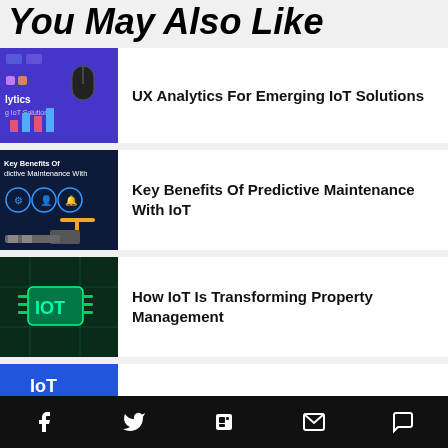You May Also Like
[Figure (screenshot): UX Analytics for IoT thumbnail - purple/blue background with dashboard icons]
UX Analytics For Emerging IoT Solutions
[Figure (screenshot): Key Benefits Of Predictive Maintenance thumbnail - dark blue with robotic arm and icons]
Key Benefits Of Predictive Maintenance With IoT
[Figure (screenshot): IoT chip circuit board photo - dark teal with IoT text]
How IoT Is Transforming Property Management
[Figure (screenshot): Partially visible fourth card thumbnail - blue]
f  Twitter  Flipboard  Email  Comment